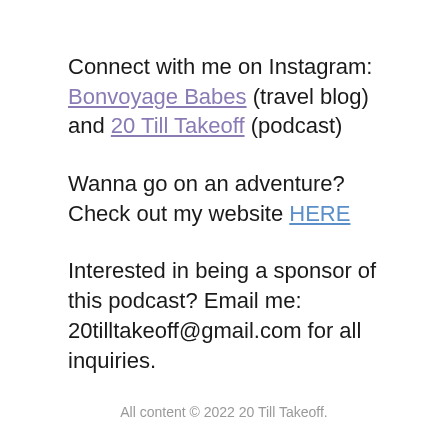Connect with me on Instagram: Bonvoyage Babes (travel blog) and 20 Till Takeoff (podcast)
Wanna go on an adventure? Check out my website HERE
Interested in being a sponsor of this podcast? Email me: 20tilltakeoff@gmail.com for all inquiries.
All content © 2022 20 Till Takeoff.